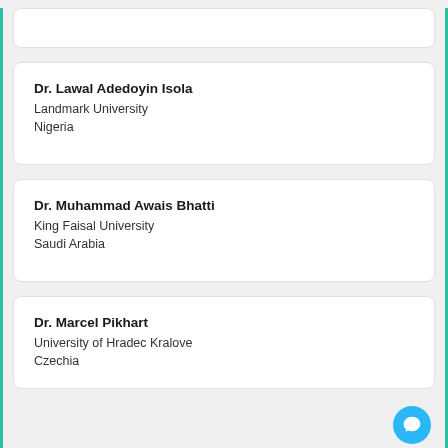(partial card top — truncated from previous page)
Dr. Lawal Adedoyin Isola
Landmark University
Nigeria
Dr. Muhammad Awais Bhatti
King Faisal University
Saudi Arabia
Dr. Marcel Pikhart
University of Hradec Kralove
Czechia